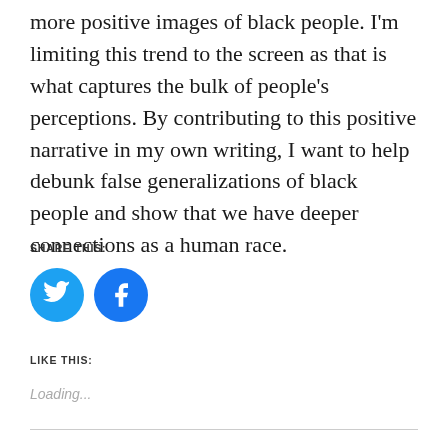more positive images of black people. I'm limiting this trend to the screen as that is what captures the bulk of people's perceptions. By contributing to this positive narrative in my own writing, I want to help debunk false generalizations of black people and show that we have deeper connections as a human race.
SHARE THIS:
[Figure (illustration): Twitter and Facebook social share icon buttons — two blue circles, the left with a Twitter bird icon, the right with a Facebook 'f' icon.]
LIKE THIS:
Loading...